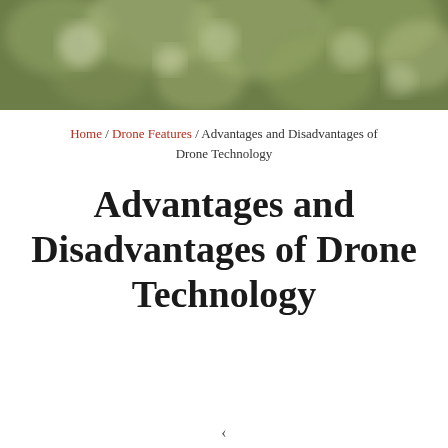[Figure (photo): Blurred outdoor background photo showing green bokeh foliage, used as hero image at top of webpage]
Home / Drone Features / Advantages and Disadvantages of Drone Technology
Advantages and Disadvantages of Drone Technology